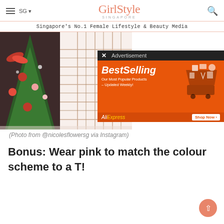GirlStyle SINGAPORE
Singapore's No.1 Female Lifestyle & Beauty Media
[Figure (photo): Christmas tree with red ornaments and decorations, plaid fabric, and holiday greenery. An AliExpress BestSelling advertisement overlay is visible on the right side.]
(Photo from @nicolesflowersg via Instagram)
Bonus: Wear pink to match the colour scheme to a T!